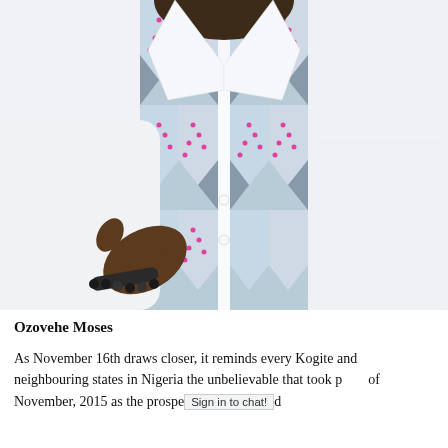[Figure (photo): A person wearing a white dress shirt with an African print (ankara) panel running down the center front, featuring geometric diamond/triangle patterns in blue, pink/magenta, and white. The person's left arm crosses their body showing a thumbs-up gesture with a black beaded bracelet on the wrist. Only the torso and hand are visible, the face/head is cropped out.]
Ozovehe Moses
As November 16th draws closer, it reminds every Kogite and neighbouring states in Nigeria the unbelievable that took place of November, 2015 as the prospec